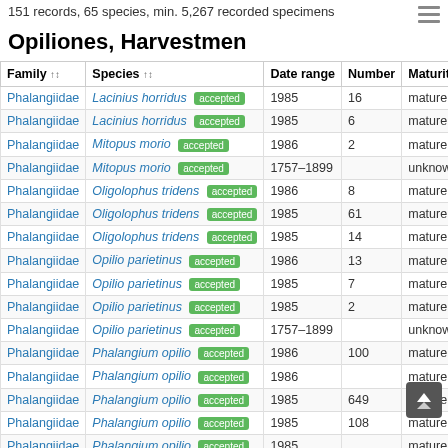151 records, 65 species, min. 5,267 recorded specimens
Opiliones, Harvestmen
| Family | Species | Date range | Number | Maturity | S |
| --- | --- | --- | --- | --- | --- |
| Phalangiidae | Lacinius horridus [accepted] | 1985 | 16 | mature | u |
| Phalangiidae | Lacinius horridus [accepted] | 1985 | 6 | mature | u |
| Phalangiidae | Mitopus morio [accepted] | 1986 | 2 | mature | u |
| Phalangiidae | Mitopus morio [accepted] | 1757–1899 |  | unknown | u |
| Phalangiidae | Oligolophus tridens [accepted] | 1986 | 8 | mature | u |
| Phalangiidae | Oligolophus tridens [accepted] | 1985 | 61 | mature | u |
| Phalangiidae | Oligolophus tridens [accepted] | 1985 | 14 | mature | u |
| Phalangiidae | Opilio parietinus [accepted] | 1986 | 13 | mature | u |
| Phalangiidae | Opilio parietinus [accepted] | 1985 | 7 | mature | u |
| Phalangiidae | Opilio parietinus [accepted] | 1985 | 2 | mature | u |
| Phalangiidae | Opilio parietinus [accepted] | 1757–1899 |  | unknown | u |
| Phalangiidae | Phalangium opilio [accepted] | 1986 | 100 | mature | u |
| Phalangiidae | Phalangium opilio [accepted] | 1986 |  | mature | u |
| Phalangiidae | Phalangium opilio [accepted] | 1985 | 649 | mature | u |
| Phalangiidae | Phalangium opilio [accepted] | 1985 | 108 | mature | u |
| Phalangiidae | Phalangium opilio [accepted] | 1985 |  | mature | u |